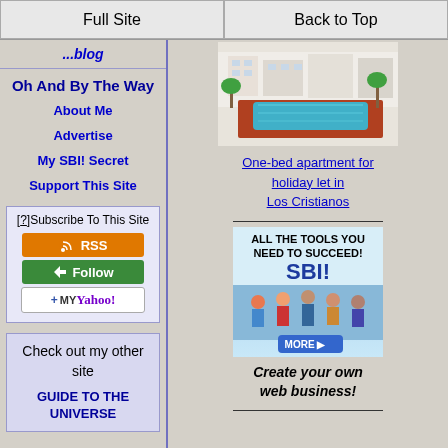Full Site | Back to Top
...blog
Oh And By The Way
About Me
Advertise
My SBI! Secret
Support This Site
[?]Subscribe To This Site
[Figure (other): RSS subscribe button]
[Figure (other): Follow button]
[Figure (other): My Yahoo! button]
Check out my other site
GUIDE TO THE UNIVERSE
[Figure (photo): Pool and apartment complex photo for Los Cristianos holiday let]
One-bed apartment for holiday let in Los Cristianos
[Figure (other): SBI! advertisement - ALL THE TOOLS YOU NEED TO SUCCEED! MORE]
Create your own web business!